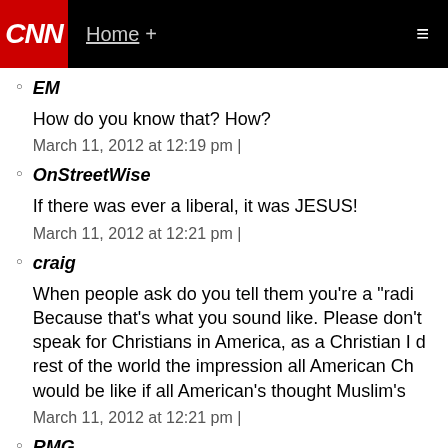CNN | Home +
EM

How do you know that? How?

March 11, 2012 at 12:19 pm |
OnStreetWise

If there was ever a liberal, it was JESUS!

March 11, 2012 at 12:21 pm |
craig

When people ask do you tell them you're a "radi... Because that's what you sound like. Please don't... speak for Christians in America, as a Christian I d... rest of the world the impression all American Ch... would be like if all American's thought Muslim's...

March 11, 2012 at 12:21 pm |
RMG